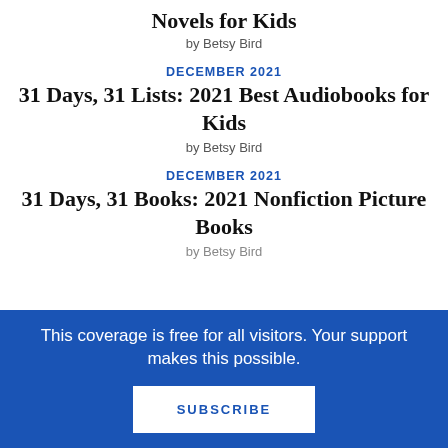Novels for Kids
by Betsy Bird
DECEMBER 2021
31 Days, 31 Lists: 2021 Best Audiobooks for Kids
by Betsy Bird
DECEMBER 2021
31 Days, 31 Books: 2021 Nonfiction Picture Books
by Betsy Bird
This coverage is free for all visitors. Your support makes this possible.
SUBSCRIBE